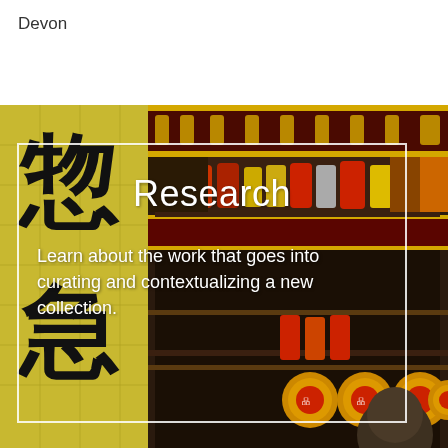Devon
[Figure (photo): Photo of a Chinese shop or temple storefront with large Chinese calligraphy characters in black on yellow background, decorative gold and red trim, shelves with canned goods visible inside]
Research
Learn about the work that goes into curating and contextualizing a new collection.